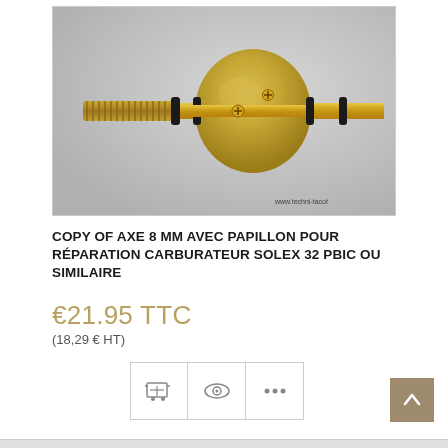[Figure (photo): Photo of a brass throttle shaft (axe 8mm) with butterfly valve (papillon) for Solex 32 PBIC carburetor repair, with black O-rings. Watermark: www.techni-tacot]
COPY OF AXE 8 MM AVEC PAPILLON POUR RÉPARATION CARBURATEUR SOLEX 32 PBIC OU SIMILAIRE
€21.95 TTC
(18,29 € HT)